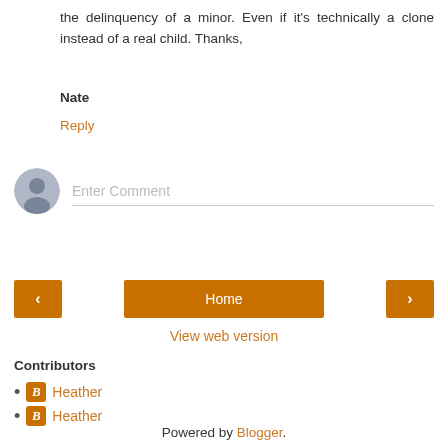the delinquency of a minor. Even if it's technically a clone instead of a real child. Thanks,
Nate
Reply
[Figure (illustration): Comment input area with avatar icon and 'Enter Comment' placeholder text field]
[Figure (infographic): Navigation bar with left arrow button, Home button, and right arrow button in orange]
View web version
Contributors
Heather
Heather
Powered by Blogger.